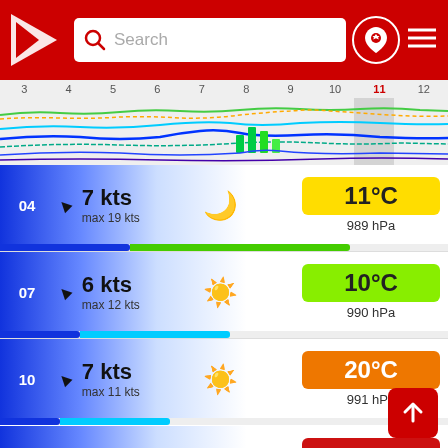[Figure (screenshot): Header bar with red background, logo triangle, search box with magnifier icon and 'Search' placeholder, location pin icon and hamburger menu icon on the right]
[Figure (continuous-plot): Wind/weather timeline chart showing colored wavy lines across hours 3-12, with hour 11 highlighted in grey. Multiple colored lines (blue, green, cyan, orange) representing different weather parameters.]
04  ▲  7 kts  max 19 kts  🌙  11°C  989 hPa
07  ▲  6 kts  max 12 kts  ☀️  10°C  990 hPa
10  ▲  7 kts  max 11 kts  ☀️  20°C  991 hPa
13  ▲  6 kts  max 6 kts  ☀️  27°C  990 hPa
16  ▲  6 kts  max 7 kts  ☀️  29°C  988 hPa